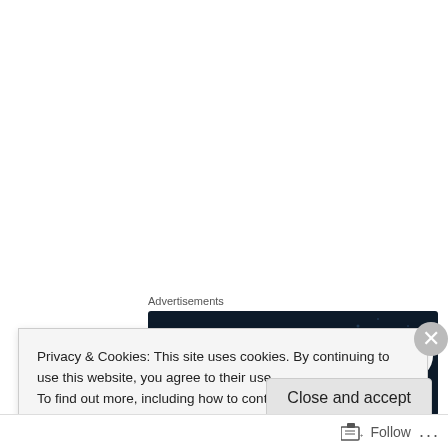Advertisements
[Figure (screenshot): Dark blue advertisement banner for WordPress survey/form creation tool. Text: 'Create surveys, polls, quizzes, and forms.' with WordPress logo and crown badge icon on the right.]
Facebook, Twitter, Amazon, Pinterest, Stumbleupon
Privacy & Cookies: This site uses cookies. By continuing to use this website, you agree to their use.
To find out more, including how to control cookies, see here: Cookie Policy
Close and accept
Follow